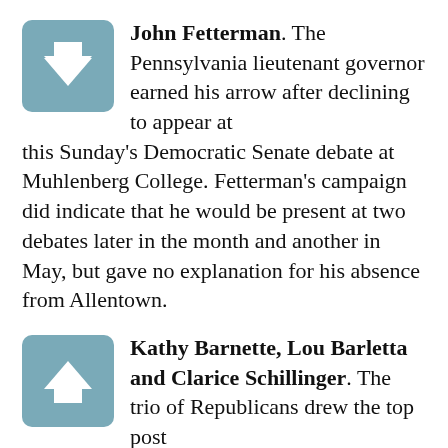[Figure (illustration): Steel-blue rounded square with a white downward-pointing arrow icon]
John Fetterman. The Pennsylvania lieutenant governor earned his arrow after declining to appear at this Sunday's Democratic Senate debate at Muhlenberg College. Fetterman's campaign did indicate that he would be present at two debates later in the month and another in May, but gave no explanation for his absence from Allentown.
[Figure (illustration): Steel-blue rounded square with a white upward-pointing arrow icon]
Kathy Barnette, Lou Barletta and Clarice Schillinger. The trio of Republicans drew the top post position during the casting of lots at the Department of State on Wednesday. All three will be listed first on the GOP primary ballot for their respective election. In a 2004 study of